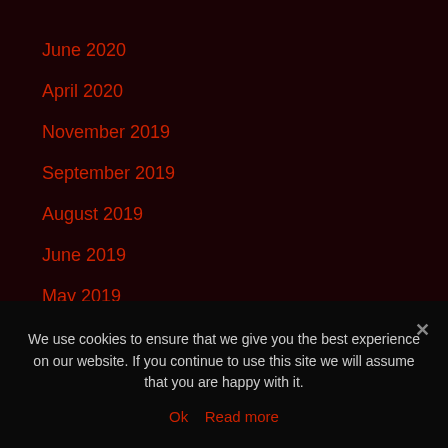June 2020
April 2020
November 2019
September 2019
August 2019
June 2019
May 2019
December 2018
September 2018
May 2018
We use cookies to ensure that we give you the best experience on our website. If you continue to use this site we will assume that you are happy with it.
Ok   Read more